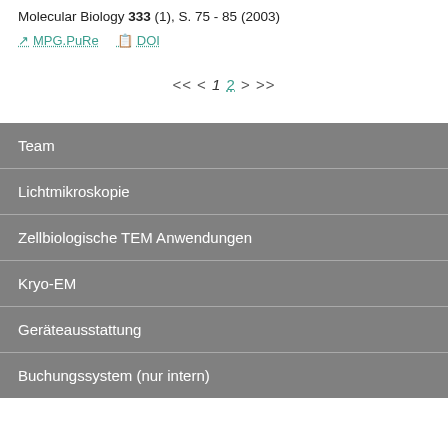Molecular Biology 333 (1), S. 75 - 85 (2003)
MPG.PuRe   DOI
<< < 1 2 > >>
Team
Lichtmikroskopie
Zellbiologische TEM Anwendungen
Kryo-EM
Geräteausstattung
Buchungssystem (nur intern)